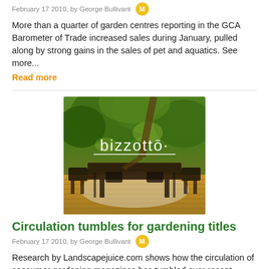February 17 2010, by George Bullivant  M
More than a quarter of garden centres reporting in the GCA Barometer of Trade increased sales during January, pulled along by strong gains in the sales of pet and aquatics. See more...
Read more
[Figure (photo): Outdoor garden furniture scene under a tree canopy with the bizzotto brand logo overlaid in white text]
Circulation tumbles for gardening titles
February 17 2010, by George Bullivant  M
Research by Landscapejuice.com shows how the circulation of consumer gardening magazines has tumbled over recent years. See more... Read more